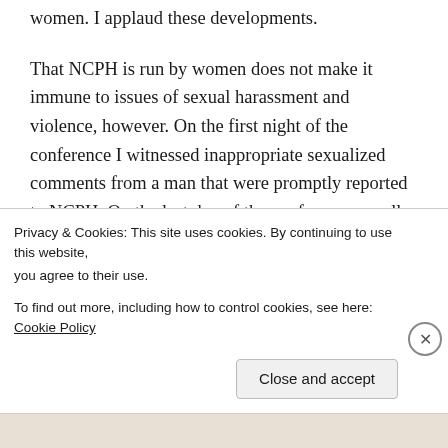women. I applaud these developments.
That NCPH is run by women does not make it immune to issues of sexual harassment and violence, however. On the first night of the conference I witnessed inappropriate sexualized comments from a man that were promptly reported to NCPH. On the last day of the conference a well-known scholar who presented at the conference announced on Twitter that she had left the field after years of sexual harassment from a prominent public historian who had previously won awards and
Privacy & Cookies: This site uses cookies. By continuing to use this website, you agree to their use.
To find out more, including how to control cookies, see here: Cookie Policy
Close and accept